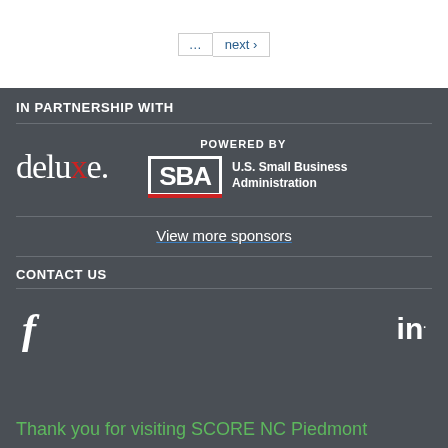[Figure (screenshot): Pagination control showing '...' and 'next >' navigation buttons]
IN PARTNERSHIP WITH
[Figure (logo): Deluxe logo in white text with red 'x']
[Figure (logo): POWERED BY SBA U.S. Small Business Administration logo]
View more sponsors
CONTACT US
[Figure (illustration): Facebook 'f' icon and LinkedIn 'in' icon social media links]
Thank you for visiting SCORE NC Piedmont